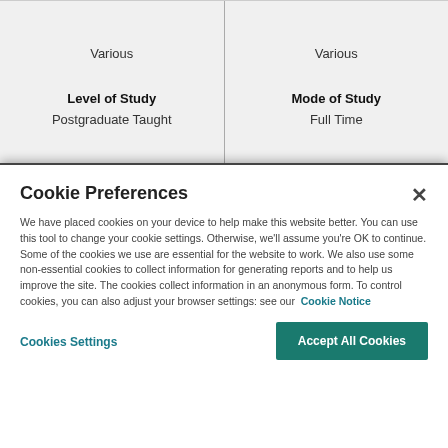| Level of Study | Mode of Study |
| --- | --- |
| Postgraduate Taught | Full Time |
Cookie Preferences
We have placed cookies on your device to help make this website better. You can use this tool to change your cookie settings. Otherwise, we'll assume you're OK to continue. Some of the cookies we use are essential for the website to work. We also use some non-essential cookies to collect information for generating reports and to help us improve the site. The cookies collect information in an anonymous form. To control cookies, you can also adjust your browser settings: see our Cookie Notice
Cookies Settings
Accept All Cookies